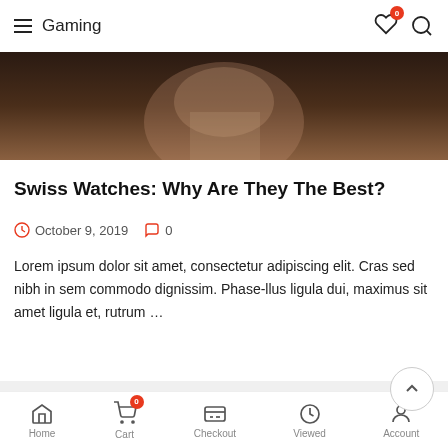Gaming
[Figure (photo): Partial face/person close-up photo, dark toned]
Swiss Watches: Why Are They The Best?
October 9, 2019   0
Lorem ipsum dolor sit amet, consectetur adipiscing elit. Cras sed nibh in sem commodo dignissim. Phase-llus ligula dui, maximus sit amet ligula et, rutrum ...
Recently viewed
Home   Cart   Checkout   Viewed   Account